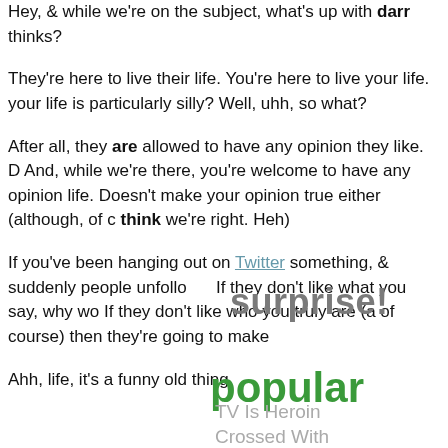Hey, & while we're on the subject, what's up with darr... thinks?
They're here to live their life. You're here to live your life. your life is particularly silly? Well, uhh, so what?
After all, they are allowed to have any opinion they like. D And, while we're there, you're welcome to have any opinion life. Doesn't make your opinion true either (although, of c think we're right. Heh)
If you've been hanging out on Twitter something, & suddenly people unfollo... If they don't like what you say, why wo... If they don't like who you truly are (a of course) then they're going to make
surprise!
popular
TV Is Heroin Crossed With
Ahh, life, it's a funny old thing.